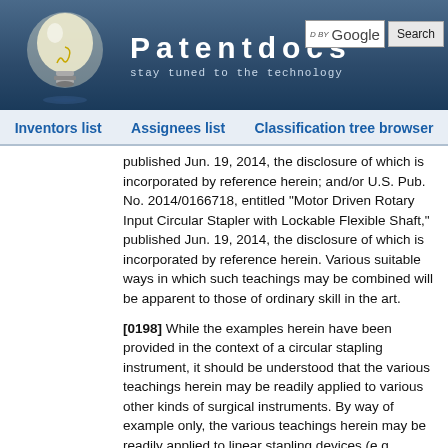[Figure (logo): Patentdocs website header with lightbulb logo, brand name 'Patentdocs', tagline 'stay tuned to the technology', and Google search box with Search button]
Inventors list   Assignees list   Classification tree browser
published Jun. 19, 2014, the disclosure of which is incorporated by reference herein; and/or U.S. Pub. No. 2014/0166718, entitled "Motor Driven Rotary Input Circular Stapler with Lockable Flexible Shaft," published Jun. 19, 2014, the disclosure of which is incorporated by reference herein. Various suitable ways in which such teachings may be combined will be apparent to those of ordinary skill in the art.
[0198] While the examples herein have been provided in the context of a circular stapling instrument, it should be understood that the various teachings herein may be readily applied to various other kinds of surgical instruments. By way of example only, the various teachings herein may be readily applied to linear stapling devices (e.g., endocutters). For instance, various teachings herein may be readily combined with various teachings of U.S. Pub. No. 2012/0239012, entitled "Motor-Driven Surgical Cutting Instrument with Electric Actuator Directional Control Assembly," published Sep. 20, 2012, the disclosure of which is